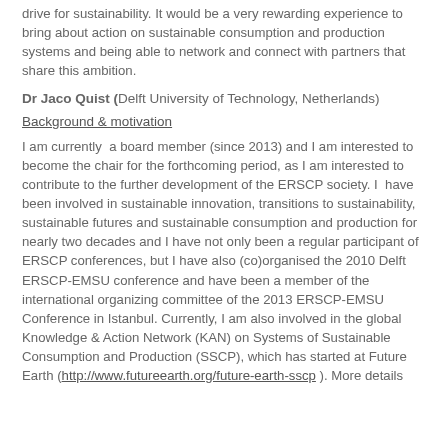drive for sustainability. It would be a very rewarding experience to bring about action on sustainable consumption and production systems and being able to network and connect with partners that share this ambition.
Dr Jaco Quist (Delft University of Technology, Netherlands)
Background & motivation
I am currently  a board member (since 2013) and I am interested to become the chair for the forthcoming period, as I am interested to contribute to the further development of the ERSCP society. I  have been involved in sustainable innovation, transitions to sustainability, sustainable futures and sustainable consumption and production for nearly two decades and I have not only been a regular participant of ERSCP conferences, but I have also (co)organised the 2010 Delft ERSCP-EMSU conference and have been a member of the international organizing committee of the 2013 ERSCP-EMSU Conference in Istanbul. Currently, I am also involved in the global Knowledge & Action Network (KAN) on Systems of Sustainable Consumption and Production (SSCP), which has started at Future Earth (http://www.futureearth.org/future-earth-sscp ). More details